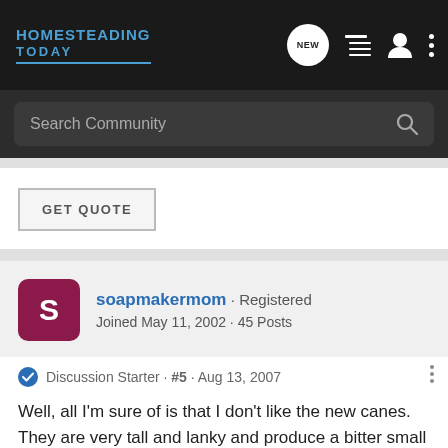HOMESTEADING TODAY
Search Community
GET QUOTE
soapmakermom · Registered
Joined May 11, 2002 · 45 Posts
Discussion Starter · #5 · Aug 13, 2007
Well, all I'm sure of is that I don't like the new canes. They are very tall and lanky and produce a bitter small fruit. I cut them all off at the ground and I'm hoping they won't come back next year or [...]  if they do, I will dig t[...] Thanks[...]